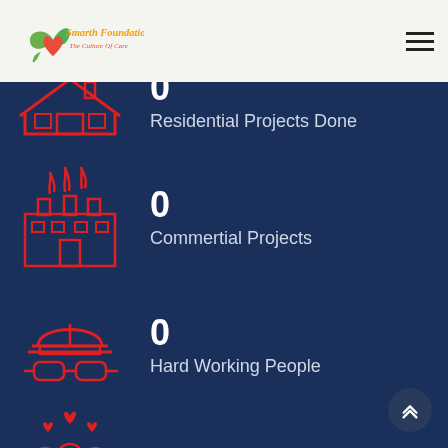[Figure (logo): Smarth Foundation - The Culture of Care logo with green leaf/heart motif]
[Figure (illustration): Red outlined house/residential icon on dark blue background]
0
Residential Projects Done
[Figure (illustration): Red outlined factory/industrial building icon on dark blue background]
0
Commertial Projects
[Figure (illustration): Red outlined construction helmet with goggles icon on dark blue background]
0
Hard Working People
[Figure (illustration): Red outlined people/community icon with hearts on dark blue background]
0